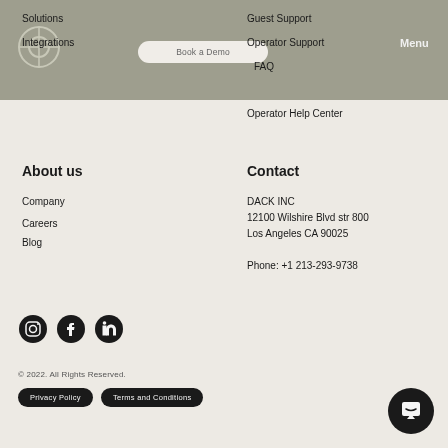Solutions   Integrations   Book a Demo   Guest Support   Operator Support   FAQ   Menu
Operator Help Center
About us
Company
Careers
Blog
Contact
DACK INC
12100 Wilshire Blvd str 800
Los Angeles CA 90025

Phone: +1 213-293-9738
[Figure (illustration): Social media icons row: Instagram, Facebook, LinkedIn — dark circular buttons]
© 2022. All Rights Reserved.
Privacy Policy   Terms and Conditions